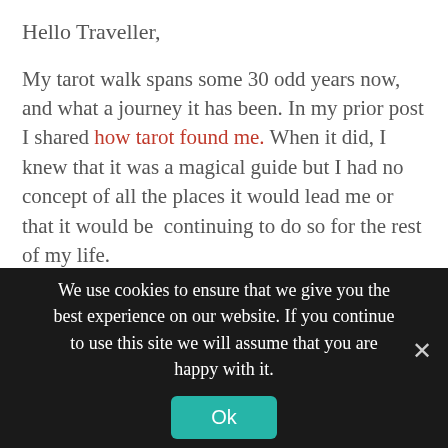Hello Traveller,
My tarot walk spans some 30 odd years now, and what a journey it has been. In my prior post I shared how tarot found me. When it did, I knew that it was a magical guide but I had no concept of all the places it would lead me or that it would be continuing to do so for the rest of my life.
What I once considered a prediction and self help tool has proven to be so much more. Over the years, I've found that tarot can easily be a part of everything I do.
I use it in counseling and consultations to quickly get
We use cookies to ensure that we give you the best experience on our website. If you continue to use this site we will assume that you are happy with it.